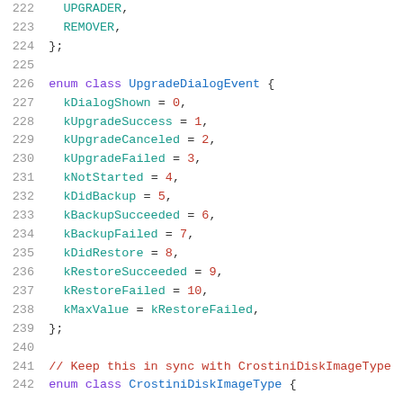Code listing lines 222-242 showing C++ enum definitions for UpgradeDialogEvent and CrostiniDiskImageType
222    UPGRADER,
223    REMOVER,
224  };
225
226  enum class UpgradeDialogEvent {
227    kDialogShown = 0,
228    kUpgradeSuccess = 1,
229    kUpgradeCanceled = 2,
230    kUpgradeFailed = 3,
231    kNotStarted = 4,
232    kDidBackup = 5,
233    kBackupSucceeded = 6,
234    kBackupFailed = 7,
235    kDidRestore = 8,
236    kRestoreSucceeded = 9,
237    kRestoreFailed = 10,
238    kMaxValue = kRestoreFailed,
239  };
240
241  // Keep this in sync with CrostiniDiskImageType
242  enum class CrostiniDiskImageType {